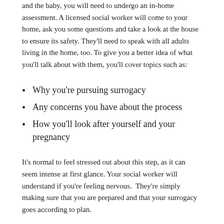and the baby, you will need to undergo an in-home assessment. A licensed social worker will come to your home, ask you some questions and take a look at the house to ensure its safety. They'll need to speak with all adults living in the home, too. To give you a better idea of what you'll talk about with them, you'll cover topics such as:
Why you're pursuing surrogacy
Any concerns you have about the process
How you'll look after yourself and your pregnancy
It's normal to feel stressed out about this step, as it can seem intense at first glance. Your social worker will understand if you're feeling nervous.  They're simply making sure that you are prepared and that your surrogacy goes according to plan.
MEDICAL ASSESSMENT
As you go through the process, you will also have to undergo a